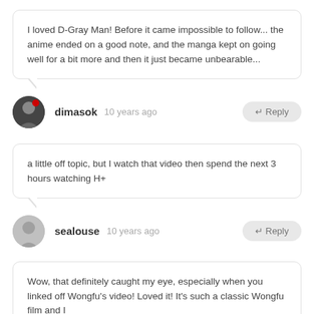I loved D-Gray Man! Before it came impossible to follow... the anime ended on a good note, and the manga kept on going well for a bit more and then it just became unbearable...
dimasok  10 years ago
↵ Reply
a little off topic, but I watch that video then spend the next 3 hours watching H+
sealouse  10 years ago
↵ Reply
Wow, that definitely caught my eye, especially when you linked off Wongfu's video! Loved it! It's such a classic Wongfu film and I